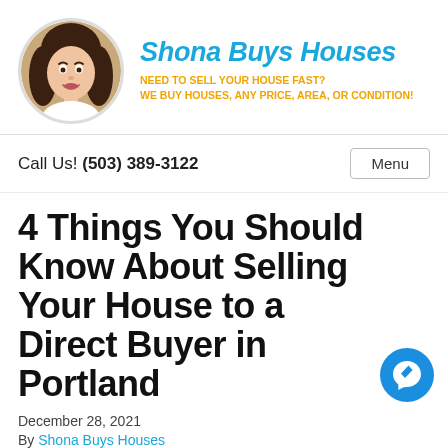[Figure (photo): Circular portrait photo of a woman with dark hair and a smile, used as brand avatar for Shona Buys Houses]
Shona Buys Houses
NEED TO SELL YOUR HOUSE FAST? WE BUY HOUSES, ANY PRICE, AREA, OR CONDITION!
Call Us! (503) 389-3122
Menu
4 Things You Should Know About Selling Your House to a Direct Buyer in Portland
December 28, 2021
By Shona Buys Houses
[Figure (logo): Facebook Messenger chat button (blue circle with lightning bolt messenger icon)]